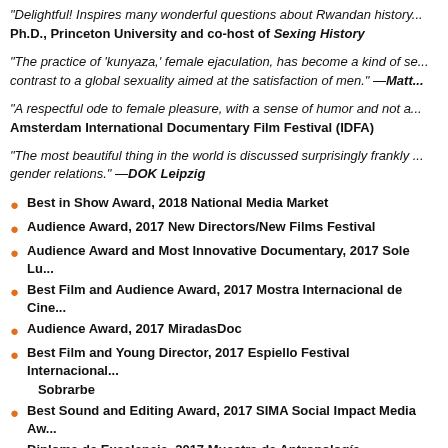"Delightful! Inspires many wonderful questions about Rwandan history... Ph.D., Princeton University and co-host of Sexing History
"The practice of 'kunyaza,' female ejaculation, has become a kind of se... contrast to a global sexuality aimed at the satisfaction of men." —Matt...
"A respectful ode to female pleasure, with a sense of humor and not a... Amsterdam International Documentary Film Festival (IDFA)
"The most beautiful thing in the world is discussed surprisingly frankly ... gender relations." —DOK Leipzig
Best in Show Award, 2018 National Media Market
Audience Award, 2017 New Directors/New Films Festival
Audience Award and Most Innovative Documentary, 2017 Sole Lu...
Best Film and Audience Award, 2017 Mostra Internacional de Cine...
Audience Award, 2017 MiradasDoc
Best Film and Young Director, 2017 Espiello Festival Internacional... Sobrarbe
Best Sound and Editing Award, 2017 SIMA Social Impact Media Aw...
Diploma de Excelencia, 2017 Muestra de Antropología Audiovisua...
Special Mention, 2017 HumanDoc Warsaw
Special Mention, 2017 Festival du Film Documentaire de Saint Lou...
Official Selection, 2017 FIPA
Official Competition, 2017 Thessaloniki Documentary Festival
Next Masters Competition, 2016 DOK Leipzig
Official Selection, 2016 Amsterdam International Documentary Film...